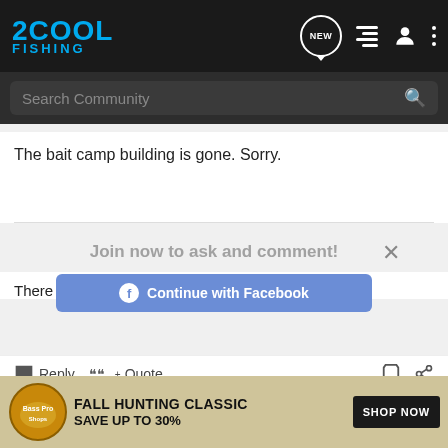2COOL FISHING
The bait camp building is gone. Sorry.
There is no greater fan of fly fishing than the worm.
[Figure (screenshot): Join now to ask and comment! overlay with Continue with Facebook and Continue with Google buttons, and an X close button]
Reply   Quote
[Figure (screenshot): Continue with Google button row]
[Figure (infographic): Bass Pro Shops advertisement banner: FALL HUNTING CLASSIC SAVE UP TO 30% with SHOP NOW button]